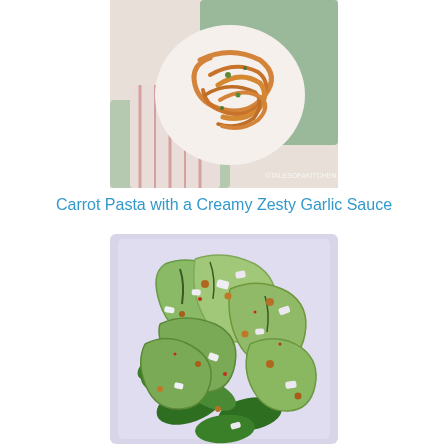[Figure (photo): A plate of orange/carrot pasta with a creamy sauce, viewed from above, with a green and pink striped cloth napkin. Watermark reads talesofakitchen.com]
Carrot Pasta with a Creamy Zesty Garlic Sauce
[Figure (photo): A plate of zucchini ribbon salad with spinach leaves, crumbled white cheese (feta), and chopped nuts, viewed from directly above on a white plate.]